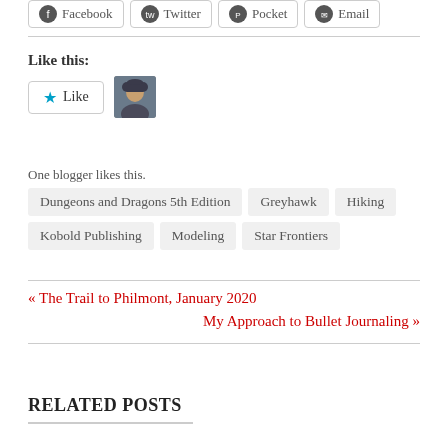Facebook  Twitter  Pocket  Email
Like this:
One blogger likes this.
Dungeons and Dragons 5th Edition
Greyhawk
Hiking
Kobold Publishing
Modeling
Star Frontiers
« The Trail to Philmont, January 2020
My Approach to Bullet Journaling »
RELATED POSTS